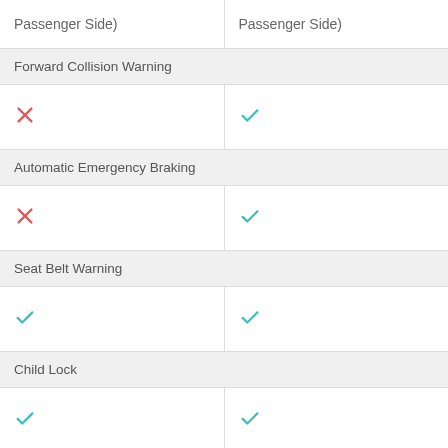| Passenger Side) | Passenger Side) |
| --- | --- |
| Forward Collision Warning |  |
| ✗ | ✓ |
| Automatic Emergency Braking |  |
| ✗ | ✓ |
| Seat Belt Warning |  |
| ✓ | ✓ |
| Child Lock |  |
| ✓ | ✓ |
| Anchor Points for Child Seat |  |
| ✓ | ✓ |